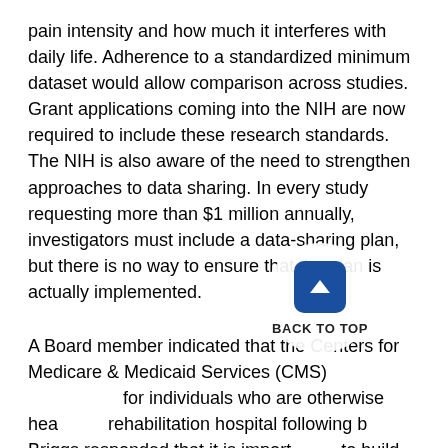pain intensity and how much it interferes with daily life. Adherence to a standardized minimum dataset would allow comparison across studies. Grant applications coming into the NIH are now required to include these research standards. The NIH is also aware of the need to strengthen approaches to data sharing. In every study requesting more than $1 million annually, investigators must include a data-sharing plan, but there is no way to ensure that the plan is actually implemented.
A Board member indicated that the Centers for Medicare & Medicaid Services (CMS) [text obscured] for individuals who are otherwise hea[text obscured] rehabilitation hospital following b[text obscured] Briggs responded that it is import[text obscured] to build an evidence base so that the C[text obscured] appropriate decisions on payment issues, although these are difficult decisions to make.